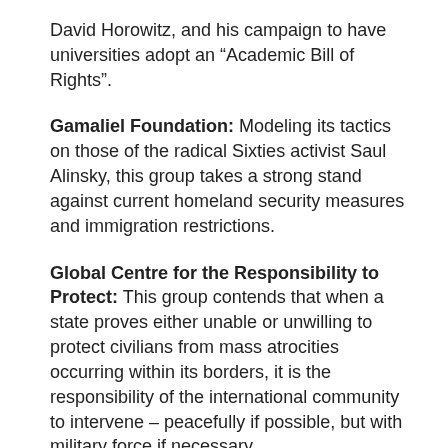David Horowitz, and his campaign to have universities adopt an “Academic Bill of Rights”.
Gamaliel Foundation: Modeling its tactics on those of the radical Sixties activist Saul Alinsky, this group takes a strong stand against current homeland security measures and immigration restrictions.
Global Centre for the Responsibility to Protect: This group contends that when a state proves either unable or unwilling to protect civilians from mass atrocities occurring within its borders, it is the responsibility of the international community to intervene – peacefully if possible, but with military force if necessary.
Immigrant Legal Resource Center: This group claims to have helped gain amnesty for some three million illegal aliens in the U.S., and in the 1980s was part of the sanctuary movement which sought to grant